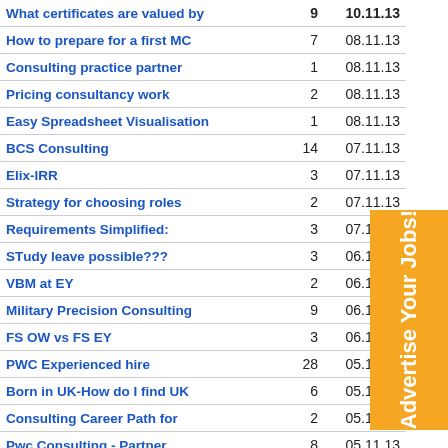| Topic | Replies | Date |
| --- | --- | --- |
| What certificates are valued by | 9 | 10.11.13 |
| How to prepare for a first MC | 7 | 08.11.13 |
| Consulting practice partner | 1 | 08.11.13 |
| Pricing consultancy work | 2 | 08.11.13 |
| Easy Spreadsheet Visualisation | 1 | 08.11.13 |
| BCS Consulting | 14 | 07.11.13 |
| Elix-IRR | 3 | 07.11.13 |
| Strategy for choosing roles | 2 | 07.11.13 |
| Requirements Simplified: | 3 | 07.11.13 |
| SТudy leave possible??? | 3 | 06.11.13 |
| VBM at EY | 2 | 06.11.13 |
| Military Precision Consulting | 9 | 06.11.13 |
| FS OW vs FS EY | 3 | 06.11.13 |
| PWC Experienced hire | 28 | 05.11.13 |
| Born in UK-How do I find UK | 6 | 05.11.13 |
| Consulting Career Path for | 2 | 05.11.13 |
| Pwc Consulting - Partner | 8 | 05.11.13 |
[Figure (infographic): Orange advertisement box with rotated text reading 'Advertise Your Jobs!']